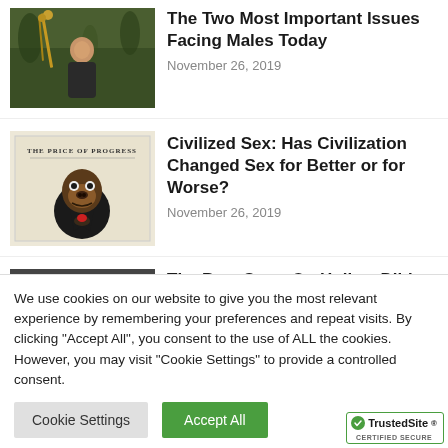[Figure (photo): Photo of a young man smiling outdoors in a forest setting]
The Two Most Important Issues Facing Males Today
November 26, 2019
[Figure (illustration): Book cover titled 'The Price of Progress' showing a chimpanzee in a suit]
Civilized Sex: Has Civilization Changed Sex for Better or for Worse?
November 26, 2019
[Figure (photo): Partial photo of what appears to be a product, text partially visible reading THE BEST]
The Best Strap On Hollow Dildos for Men
We use cookies on our website to give you the most relevant experience by remembering your preferences and repeat visits. By clicking "Accept All", you consent to the use of ALL the cookies. However, you may visit "Cookie Settings" to provide a controlled consent.